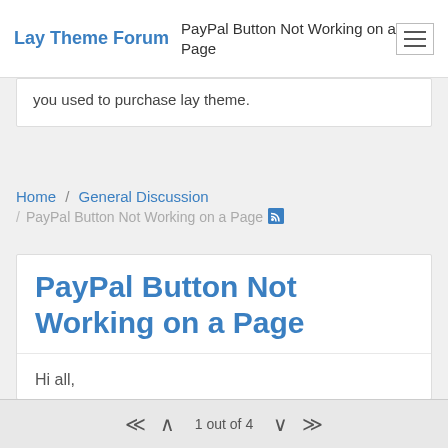Lay Theme Forum — PayPal Button Not Working on a Page
you used to purchase lay theme.
Home / General Discussion / PayPal Button Not Working on a Page
PayPal Button Not Working on a Page
Hi all,
I'm trying to add PayPal "buy" buttons to a page (for books and publications). When I paste the
1 out of 4